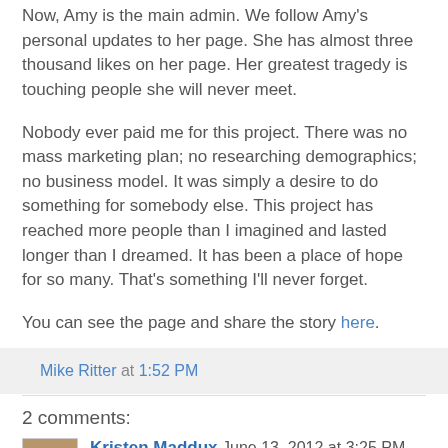Now, Amy is the main admin. We follow Amy's personal updates to her page. She has almost three thousand likes on her page. Her greatest tragedy is touching people she will never meet.
Nobody ever paid me for this project. There was no mass marketing plan; no researching demographics; no business model. It was simply a desire to do something for somebody else. This project has reached more people than I imagined and lasted longer than I dreamed. It has been a place of hope for so many. That's something I'll never forget.
You can see the page and share the story here.
Mike Ritter at 1:52 PM
2 comments:
Kristen Maddux June 13, 2012 at 3:25 PM
Wow. Love it. Social media at it's finest!